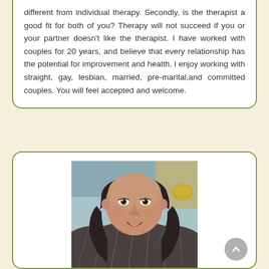different from individual therapy. Secondly, is the therapist a good fit for both of you? Therapy will not succeed if you or your partner doesn't like the therapist. I have worked with couples for 20 years, and believe that every relationship has the potential for improvement and health. I enjoy working with straight, gay, lesbian, married, pre-marital,and committed couples. You will feel accepted and welcome.
[Figure (photo): Portrait photo of a woman with long dark wavy hair, smiling, wearing a plaid jacket. Background includes a blurred indoor setting.]